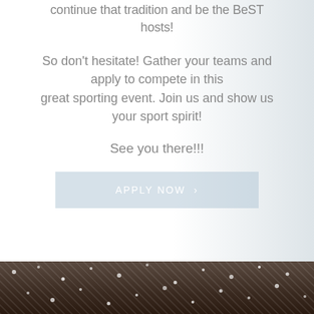continue that tradition and be the BeST hosts!
So don't hesitate! Gather your teams and apply to compete in this great sporting event. Join us and show us your sport spirit!
See you there!!!
APPLY NOW ❯
[Figure (photo): Bottom portion of page showing a snowy outdoor sporting event scene with confetti or snow falling on athletes]